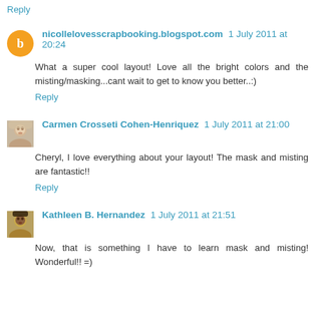Reply
nicollelovesscrapbooking.blogspot.com 1 July 2011 at 20:24
What a super cool layout! Love all the bright colors and the misting/masking...cant wait to get to know you better..:)
Reply
Carmen Crosseti Cohen-Henriquez 1 July 2011 at 21:00
Cheryl, I love everything about your layout! The mask and misting are fantastic!!
Reply
Kathleen B. Hernandez 1 July 2011 at 21:51
Now, that is something I have to learn mask and misting! Wonderful!! =)